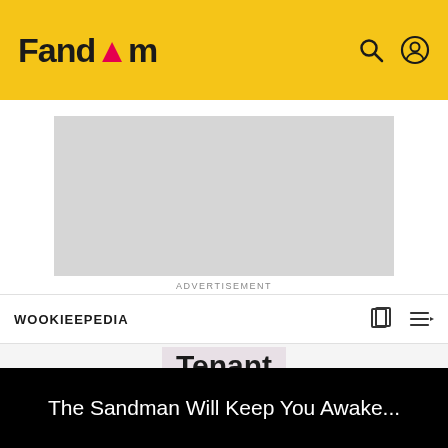[Figure (logo): Fandom logo with flame icon in yellow header bar with search and user icons]
[Figure (other): Grey advertisement placeholder rectangle]
ADVERTISEMENT
WOOKIEEPEDIA
Tenant
EDIT
The Sandman Will Keep You Awake...